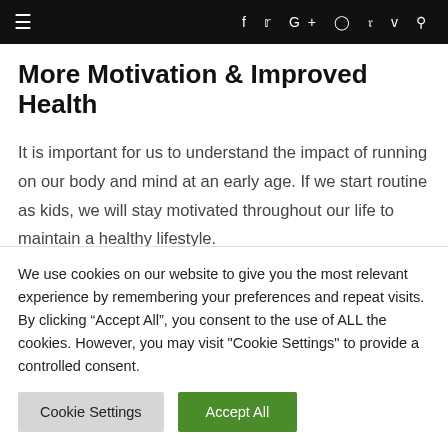≡  f  twitter  G+  instagram  pinterest  vimeo  search
More Motivation & Improved Health
It is important for us to understand the impact of running on our body and mind at an early age. If we start routine as kids, we will stay motivated throughout our life to maintain a healthy lifestyle.
I want to encourage you to start running, this may seem
We use cookies on our website to give you the most relevant experience by remembering your preferences and repeat visits. By clicking "Accept All", you consent to the use of ALL the cookies. However, you may visit "Cookie Settings" to provide a controlled consent.
Cookie Settings  Accept All